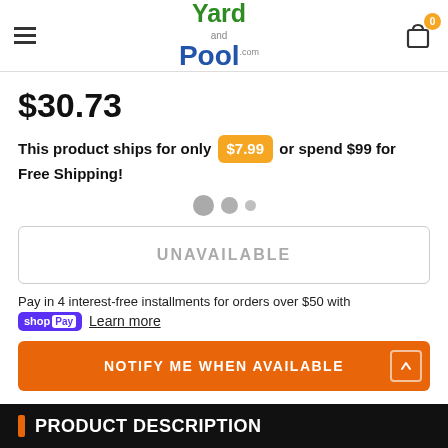Yard and Pool .com
$30.73
This product ships for only $7.99 or spend $99 for Free Shipping!
UNAVAILABLE
Pay in 4 interest-free installments for orders over $50 with shop Pay Learn more
NOTIFY ME WHEN AVAILABLE
PRODUCT DESCRIPTION